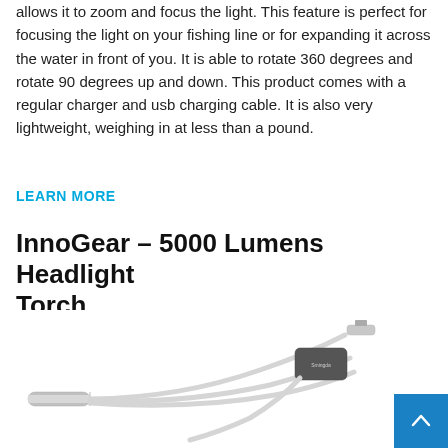allows it to zoom and focus the light. This feature is perfect for focusing the light on your fishing line or for expanding it across the water in front of you. It is able to rotate 360 degrees and rotate 90 degrees up and down. This product comes with a regular charger and usb charging cable. It is also very lightweight, weighing in at less than a pound.
LEARN MORE
InnoGear – 5000 Lumens Headlight Torch
[Figure (photo): A USB cable with multiple connectors including a Lightning connector, shown against a white background]